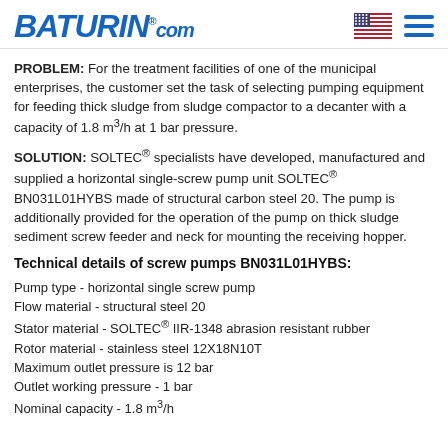BATURIN®.com
PROBLEM: For the treatment facilities of one of the municipal enterprises, the customer set the task of selecting pumping equipment for feeding thick sludge from sludge compactor to a decanter with a capacity of 1.8 m³/h at 1 bar pressure.
SOLUTION: SOLTEC® specialists have developed, manufactured and supplied a horizontal single-screw pump unit SOLTEC® BN031L01HYBS made of structural carbon steel 20. The pump is additionally provided for the operation of the pump on thick sludge sediment screw feeder and neck for mounting the receiving hopper.
Technical details of screw pumps BN031L01HYBS:
Pump type - horizontal single screw pump
Flow material - structural steel 20
Stator material - SOLTEC® IIR-1348 abrasion resistant rubber
Rotor material - stainless steel 12X18N10T
Maximum outlet pressure is 12 bar
Outlet working pressure - 1 bar
Nominal capacity - 1.8 m³/h